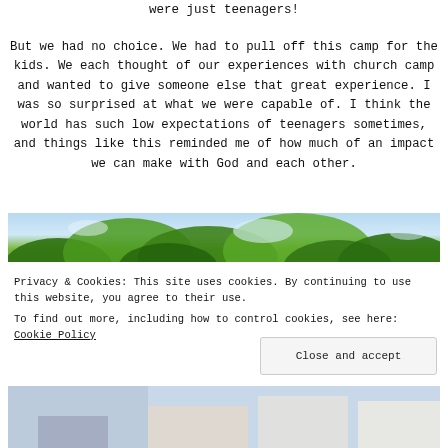were just teenagers!
But we had no choice. We had to pull off this camp for the kids. We each thought of our experiences with church camp and wanted to give someone else that great experience. I was so surprised at what we were capable of. I think the world has such low expectations of teenagers sometimes, and things like this reminded me of how much of an impact we can make with God and each other.
[Figure (photo): Outdoor scene with green trees canopy viewed from below, natural daylight]
Privacy & Cookies: This site uses cookies. By continuing to use this website, you agree to their use.
To find out more, including how to control cookies, see here: Cookie Policy
Close and accept
[Figure (photo): Bottom portion of outdoor camp scene with vehicles and outdoor equipment]